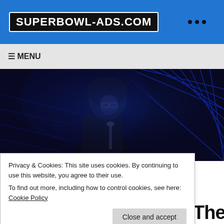SUPERBOWL-ADS.COM
≡ MENU
[Figure (photo): A performer with glasses and an afro hairstyle holding a microphone on a dark stage with blue lighting and geometric neon patterns in the background.]
Privacy & Cookies: This site uses cookies. By continuing to use this website, you agree to their use.
To find out more, including how to control cookies, see here: Cookie Policy
Close and accept
International Phenom The